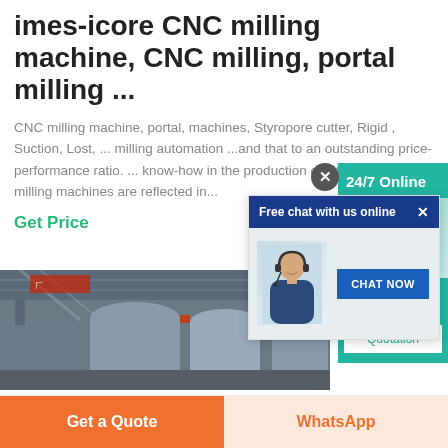imes-icore CNC milling machine, CNC milling, portal milling ...
CNC milling machine, portal, machines, Styropore cutter, Rigid , Suction, Lost, ... milling automation ...and that to an outstanding price-performance ratio. ... know-how in the production of different dental milling machines are reflected in...
Get Price
[Figure (screenshot): Live chat popup overlay with blue header 'Free chat with us online', photo of customer service representative with headset, and 'CHAT NOW' button]
[Figure (screenshot): Teal sidebar with '24/7 Online' label, operator photo, 'Have any requests, click here.' text, and 'Quotation' button]
[Figure (photo): Factory interior showing industrial milling machines and equipment]
Get a Quote
WhatsApp